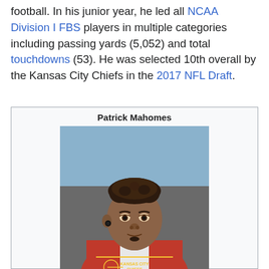football. In his junior year, he led all NCAA Division I FBS players in multiple categories including passing yards (5,052) and total touchdowns (53). He was selected 10th overall by the Kansas City Chiefs in the 2017 NFL Draft.
Patrick Mahomes
[Figure (photo): Portrait photo of Patrick Mahomes wearing a red Kansas City Chiefs hoodie/jersey, with curly hair, an earphone in his left ear, outdoors with a blurred background.]